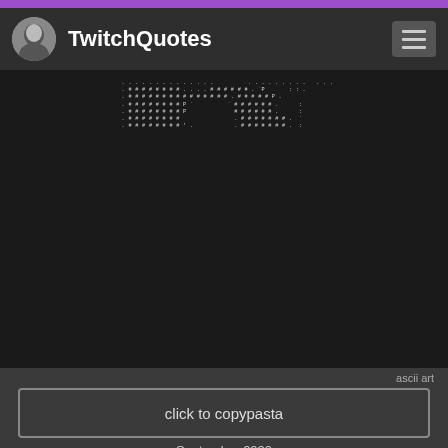TwitchQuotes
[Figure (illustration): ASCII art depicting a pixel-dot figure/character made of dots and colons on a dark background]
ascii art
click to copypasta
September 2020
Tweet  Share
weedie-chan